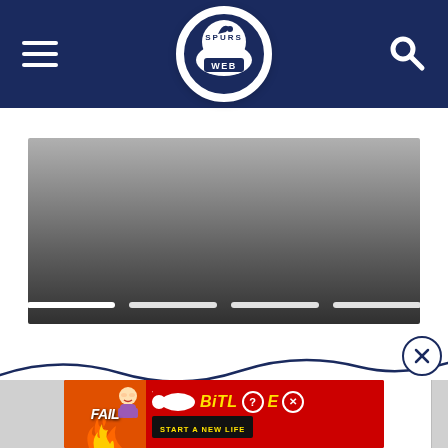Spurs Web — navigation bar with hamburger menu, Spurs Web logo, and search icon
[Figure (photo): Hero/slideshow image area with gradient grey background and four white slide indicator bars at the bottom]
[Figure (other): Decorative wave line with close (X) button circle in top right]
[Figure (other): BitLife advertisement banner: FAIL text with cartoon character on left, BitLife logo with question mark and X icons, sperm pill graphic, START A NEW LIFE text on red background]